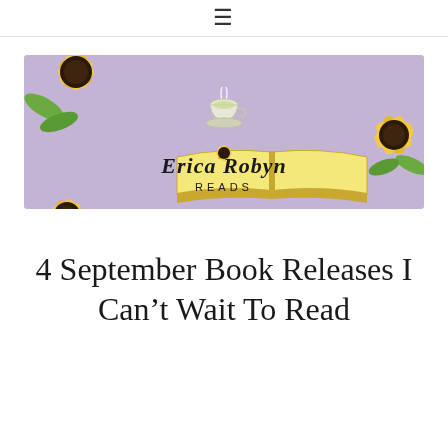≡
[Figure (logo): Erica Robyn Reads banner logo on lavender background with sunflowers and an open book with a teacup]
4 September Book Releases I Can't Wait To Read